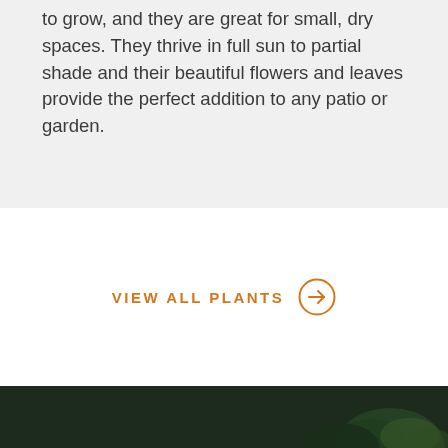to grow, and they are great for small, dry spaces. They thrive in full sun to partial shade and their beautiful flowers and leaves provide the perfect addition to any patio or garden.
VIEW ALL PLANTS →
[Figure (photo): Dark background with green plant leaves visible at the bottom of the image]